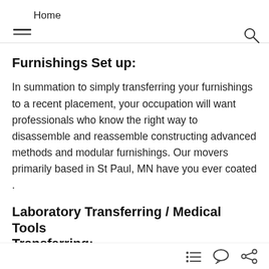Home
Furnishings Set up:
In summation to simply transferring your furnishings to a recent placement, your occupation will want professionals who know the right way to disassemble and reassemble constructing advanced methods and modular furnishings. Our movers primarily based in St Paul, MN have you ever coated .
Laboratory Transferring / Medical Tools Transferring: